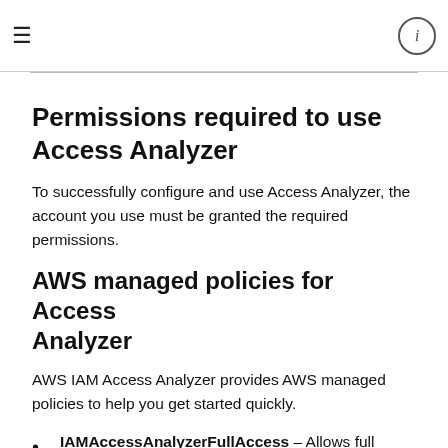≡  ⓘ
Permissions required to use Access Analyzer
To successfully configure and use Access Analyzer, the account you use must be granted the required permissions.
AWS managed policies for Access Analyzer
AWS IAM Access Analyzer provides AWS managed policies to help you get started quickly.
IAMAccessAnalyzerFullAccess – Allows full access to Access Analyzer for administrators. This policy also